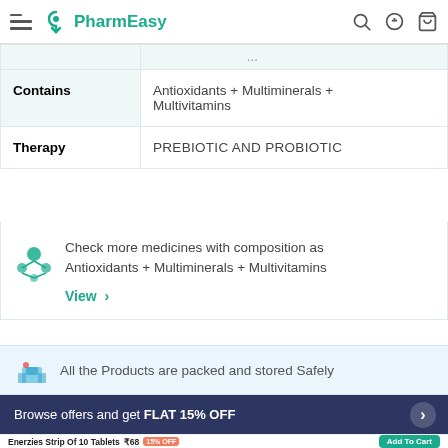PharmEasy
|  |  |
| --- | --- |
| Contains | Antioxidants + Multiminerals + Multivitamins |
| Therapy | PREBIOTIC AND PROBIOTIC |
Check more medicines with composition as Antioxidants + Multiminerals + Multivitamins
View >
All the Products are packed and stored Safely
Browse offers and get FLAT 15% OFF
Enerzies Strip Of 10 Tablets ₹68 15% OFF Add To Cart